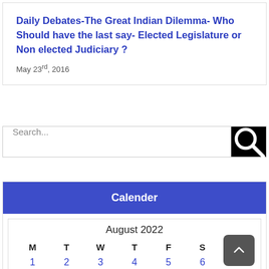Daily Debates-The Great Indian Dilemma- Who Should have the last say- Elected Legislature or Non elected Judiciary ?
May 23rd, 2016
Search...
Calender
| M | T | W | T | F | S | S |
| --- | --- | --- | --- | --- | --- | --- |
| 1 | 2 | 3 | 4 | 5 | 6 | 7 |